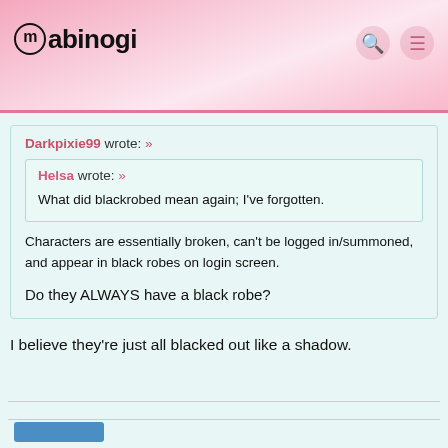mabinogi
Darkpixie99 wrote: »

Helsa wrote: »

What did blackrobed mean again; I've forgotten.

Characters are essentially broken, can't be logged in/summoned, and appear in black robes on login screen.

Do they ALWAYS have a black robe?
I believe they're just all blacked out like a shadow.